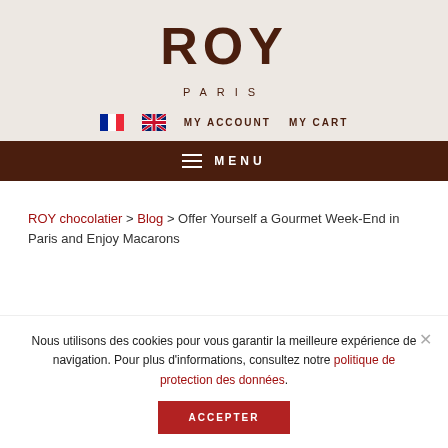[Figure (logo): ROY PARIS logo in dark brown serif/bold font on beige background]
MY ACCOUNT   MY CART
MENU
ROY chocolatier > Blog > Offer Yourself a Gourmet Week-End in Paris and Enjoy Macarons
Nous utilisons des cookies pour vous garantir la meilleure expérience de navigation. Pour plus d'informations, consultez notre politique de protection des données.
ACCEPTER